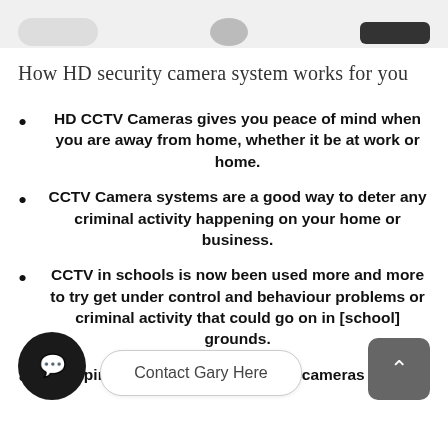[Figure (photo): Partial view of CCTV/security camera hardware at the top of the page]
How HD security camera system works for you
HD CCTV Cameras gives you peace of mind when you are away from home, whether it be at work or home.
CCTV Camera systems are a good way to deter any criminal activity happening on your home or business.
CCTV in schools is now been used more and more to try get under control and behaviour problems or criminal activity that could go on in [school] grounds.
Shopping centres and shops have cameras [to deter or record theft]